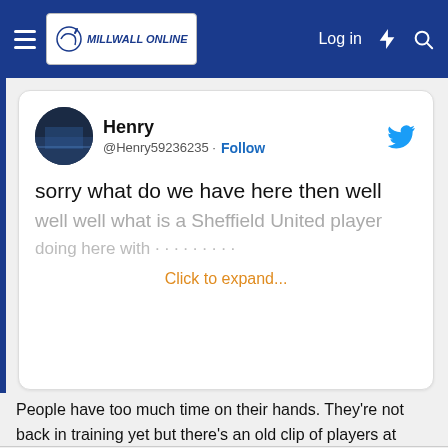Millwall Online — Log in
[Figure (screenshot): Embedded tweet from @Henry59236235 with text 'sorry what do we have here then well well well what is a Sheffield United player...' with a Click to expand... link]
People have too much time on their hands. They're not back in training yet but there's an old clip of players at Calmont road.